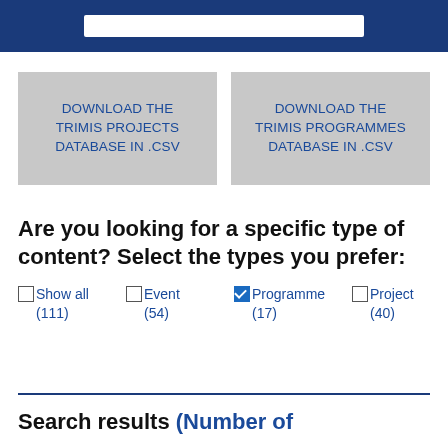[Figure (screenshot): Dark blue navigation bar with a white search input box centered inside it]
DOWNLOAD THE TRIMIS PROJECTS DATABASE IN .CSV
DOWNLOAD THE TRIMIS PROGRAMMES DATABASE IN .CSV
Are you looking for a specific type of content? Select the types you prefer:
Show all (111)
Event (54)
Programme (17) [checked]
Project (40)
Search results (Number of